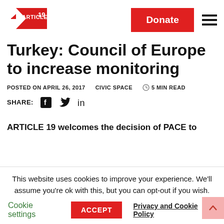[Figure (logo): ARTICLE 19 logo - red triangle with text ARTICLE 19]
[Figure (other): Red Donate button]
Turkey: Council of Europe to increase monitoring
POSTED ON APRIL 26, 2017   CIVIC SPACE   5 MIN READ
SHARE:  [Facebook] [Twitter] [LinkedIn]
ARTICLE 19 welcomes the decision of PACE to
This website uses cookies to improve your experience. We'll assume you're ok with this, but you can opt-out if you wish.
Cookie settings   ACCEPT   Privacy and Cookie Policy